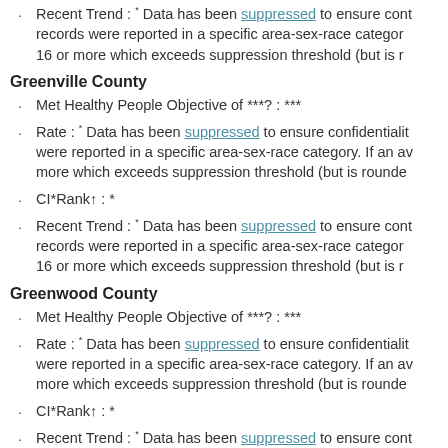Recent Trend : * Data has been suppressed to ensure conf records were reported in a specific area-sex-race category. 16 or more which exceeds suppression threshold (but is r
Greenville County
Met Healthy People Objective of ***?: ***
Rate : * Data has been suppressed to ensure confidentiality were reported in a specific area-sex-race category. If an av more which exceeds suppression threshold (but is rounde
CI*Rank↑ : *
Recent Trend : * Data has been suppressed to ensure cont records were reported in a specific area-sex-race category. 16 or more which exceeds suppression threshold (but is r
Greenwood County
Met Healthy People Objective of ***?: ***
Rate : * Data has been suppressed to ensure confidentiality were reported in a specific area-sex-race category. If an av more which exceeds suppression threshold (but is rounde
CI*Rank↑ : *
Recent Trend : * Data has been suppressed to ensure cont records were reported in a specific area-sex-race category.